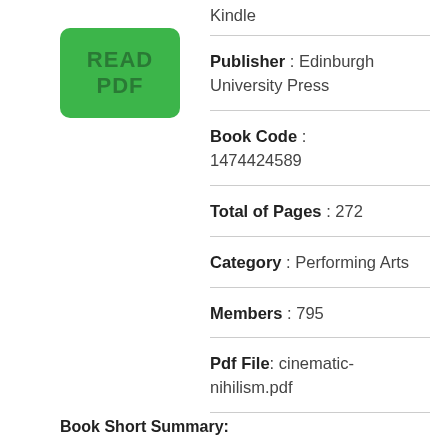[Figure (other): Green rounded rectangle button with text READ PDF]
Kindle
Publisher : Edinburgh University Press
Book Code : 1474424589
Total of Pages : 272
Category : Performing Arts
Members : 795
Pdf File: cinematic-nihilism.pdf
Book Short Summary: